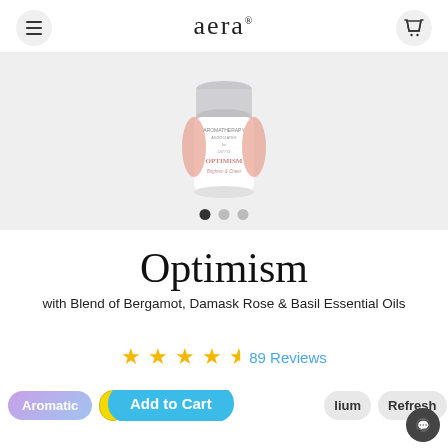aera
[Figure (photo): A small cylindrical fragrance capsule bottle with silver cap and pinkish-peachy label reading 'aera OPTIMISM Brighten & Cheer', on a light grey background with carousel navigation dots below.]
Optimism
with Blend of Bergamot, Damask Rose & Basil Essential Oils
89 Reviews
Aromatic   Citrus   Add to Cart   Medium   Refresh